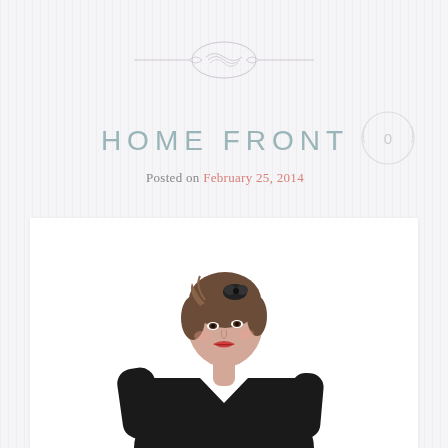[Figure (illustration): Decorative ornamental flourish / header divider with curved scroll lines]
HOME FRONT
Posted on February 25, 2014
[Figure (other): Circular comment count badge showing '0']
[Figure (photo): Woman with short dark hair wearing a black top with a small dark hair ornament, looking over her shoulder, posed against a white background]